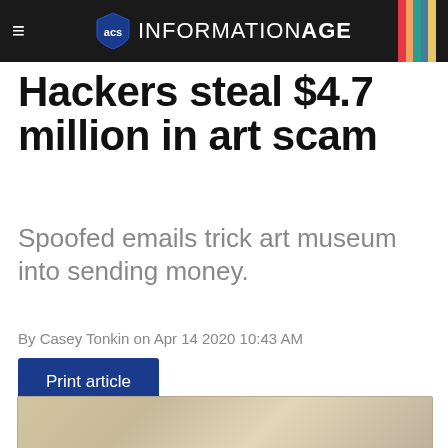INFORMATION AGE
Hackers steal $4.7 million in art scam
Spoofed emails trick art museum into sending money.
By Casey Tonkin on Apr 14 2020 10:43 AM
Print article
Tweet  Share 40  Share
[Figure (photo): Partial view of an art-related image at the bottom of the page]